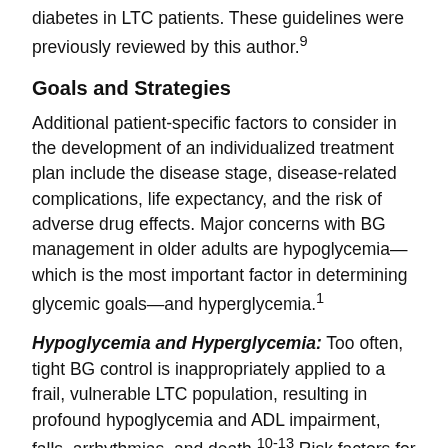diabetes in LTC patients. These guidelines were previously reviewed by this author.⁹
Goals and Strategies
Additional patient-specific factors to consider in the development of an individualized treatment plan include the disease stage, disease-related complications, life expectancy, and the risk of adverse drug effects. Major concerns with BG management in older adults are hypoglycemia—which is the most important factor in determining glycemic goals—and hyperglycemia.¹
Hypoglycemia and Hyperglycemia: Too often, tight BG control is inappropriately applied to a frail, vulnerable LTC population, resulting in profound hypoglycemia and ADL impairment, falls, arrhythmias, and death.¹⁰⁻¹³ Risk factors for